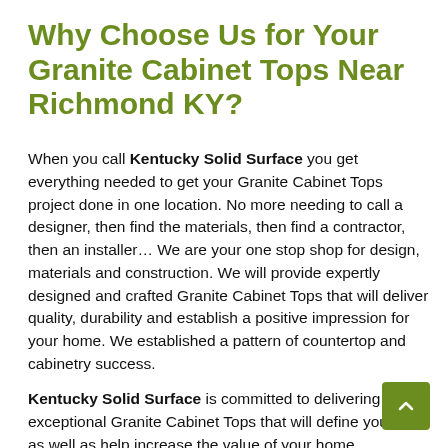Why Choose Us for Your Granite Cabinet Tops Near Richmond KY?
When you call Kentucky Solid Surface you get everything needed to get your Granite Cabinet Tops project done in one location. No more needing to call a designer, then find the materials, then find a contractor, then an installer... We are your one stop shop for design, materials and construction. We will provide expertly designed and crafted Granite Cabinet Tops that will deliver quality, durability and establish a positive impression for your home. We established a pattern of countertop and cabinetry success.
Kentucky Solid Surface is committed to delivering exceptional Granite Cabinet Tops that will define your style as well as help increase the value of your home.